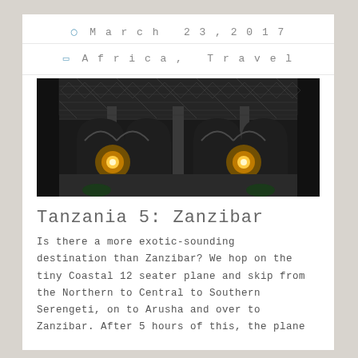March 23, 2017
Africa, Travel
[Figure (photo): Overhead/interior view of an ornate building with decorative metalwork railings, arched Moorish-style panels, and two warm glowing lights, viewed from above looking down into a courtyard.]
Tanzania 5: Zanzibar
Is there a more exotic-sounding destination than Zanzibar? We hop on the tiny Coastal 12 seater plane and skip from the Northern to Central to Southern Serengeti, on to Arusha and over to Zanzibar. After 5 hours of this, the plane